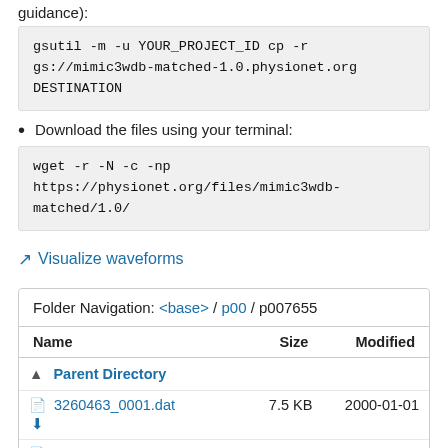guidance):
gsutil -m -u YOUR_PROJECT_ID cp -r gs://mimic3wdb-matched-1.0.physionet.org DESTINATION
Download the files using your terminal:
wget -r -N -c -np https://physionet.org/files/mimic3wdb-matched/1.0/
Visualize waveforms
| Name | Size | Modified |
| --- | --- | --- |
| Parent Directory |  |  |
| 3260463_0001.dat | 7.5 KB | 2000-01-01 |
| 3260463_0001.hea | 124 B | 2000-01-01 |